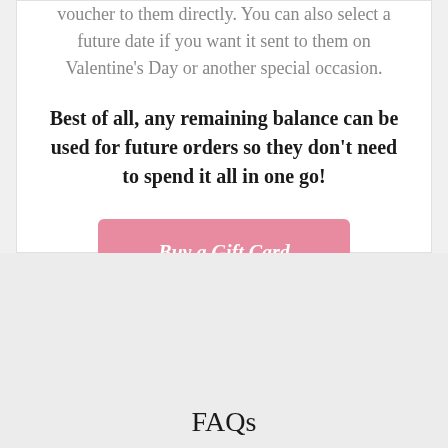voucher to them directly. You can also select a future date if you want it sent to them on Valentine's Day or another special occasion.
Best of all, any remaining balance can be used for future orders so they don't need to spend it all in one go!
Buy a Gift Card
FAQs